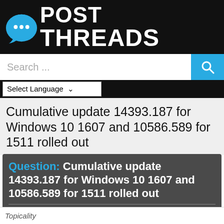POST THREADS
Search ...
Select Language
Cumulative update 14393.187 for Windows 10 1607 and 10586.589 for 1511 rolled out
Question: Cumulative update 14393.187 for Windows 10 1607 and 10586.589 for 1511 rolled out
As expected, both fixes include several fixes and improvements that are designed to improve system stability.
Topicality